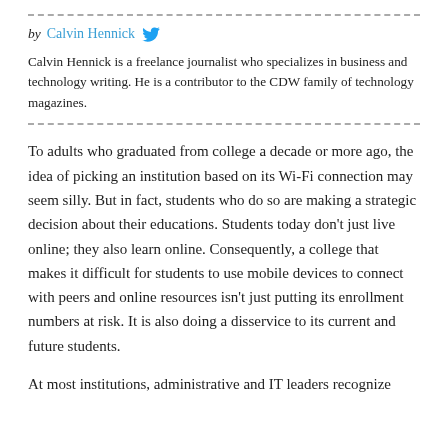by Calvin Hennick [Twitter icon]
Calvin Hennick is a freelance journalist who specializes in business and technology writing. He is a contributor to the CDW family of technology magazines.
To adults who graduated from college a decade or more ago, the idea of picking an institution based on its Wi-Fi connection may seem silly. But in fact, students who do so are making a strategic decision about their educations. Students today don't just live online; they also learn online. Consequently, a college that makes it difficult for students to use mobile devices to connect with peers and online resources isn't just putting its enrollment numbers at risk. It is also doing a disservice to its current and future students.
At most institutions, administrative and IT leaders recognize